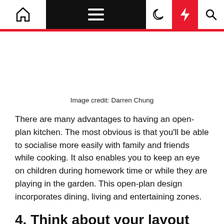Navigation bar with home, menu, moon, lightning, and search icons
Image credit: Darren Chung
There are many advantages to having an open-plan kitchen. The most obvious is that you'll be able to socialise more easily with family and friends while cooking. It also enables you to keep an eye on children during homework time or while they are playing in the garden. This open-plan design incorporates dining, living and entertaining zones.
4. Think about your layout
[Figure (photo): Open-plan kitchen image placeholder]